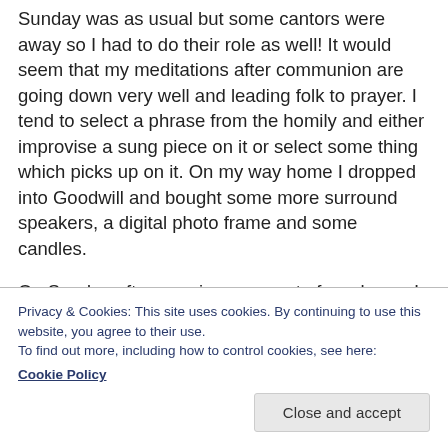Sunday was as usual but some cantors were away so I had to do their role as well! It would seem that my meditations after communion are going down very well and leading folk to prayer. I tend to select a phrase from the homily and either improvise a sung piece on it or select some thing which picks up on it. On my way home I dropped into Goodwill and bought some more surround speakers, a digital photo frame and some candles.
On Sunday afternoon in a moment of weakness I stopped by at the Long Bar arriving at the same time as some friends. So I stayed a little longer and then
Privacy & Cookies: This site uses cookies. By continuing to use this website, you agree to their use.
To find out more, including how to control cookies, see here:
Cookie Policy
Close and accept